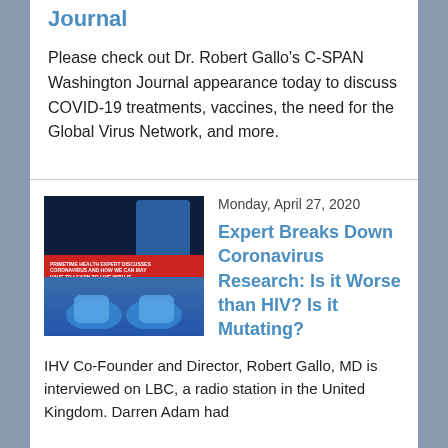Journal
Please check out Dr. Robert Gallo's C-SPAN Washington Journal appearance today to discuss COVID-19 treatments, vaccines, the need for the Global Virus Network, and more.
Monday, April 27, 2020
[Figure (photo): Thumbnail image for article about Coronavirus Research featuring a person and laboratory workers with blue gloves, with a red banner overlay text]
Expert Breaks Down Coronavirus Research: Is it Worse than HIV? Is it Mutating?
IHV Co-Founder and Director, Robert Gallo, MD is interviewed on LBC, a radio station in the United Kingdom. Darren Adam had